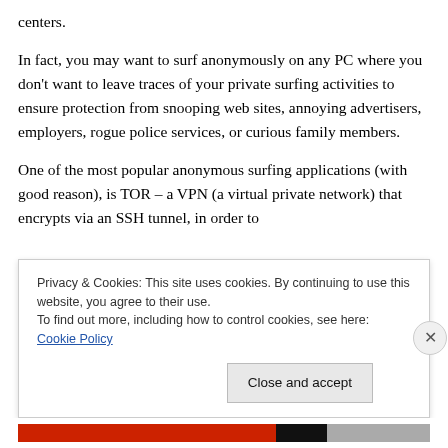centers.
In fact, you may want to surf anonymously on any PC where you don't want to leave traces of your private surfing activities to ensure protection from snooping web sites, annoying advertisers, employers, rogue police services, or curious family members.
One of the most popular anonymous surfing applications (with good reason), is TOR – a VPN (a virtual private network) that encrypts via an SSH tunnel, in order to
Privacy & Cookies: This site uses cookies. By continuing to use this website, you agree to their use.
To find out more, including how to control cookies, see here: Cookie Policy
Close and accept